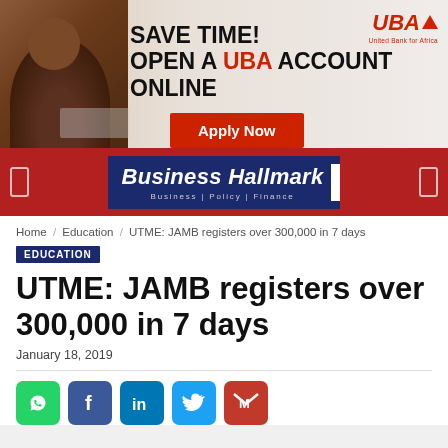[Figure (illustration): UBA bank advertisement banner: 'SAVE TIME! OPEN A UBA ACCOUNT ONLINE' with an Apply Now button and UBA logo. Shows a person at a laptop on the left.]
[Figure (logo): Business Hallmark newspaper logo in navy blue with white text on a dark red navigation bar. Tagline: Business | Policy | Finance]
Home / Education / UTME: JAMB registers over 300,000 in 7 days
EDUCATION
UTME: JAMB registers over 300,000 in 7 days
January 18, 2019
[Figure (infographic): Social media sharing icons: WhatsApp (green), Facebook (blue), LinkedIn (blue), Twitter (light blue), Gmail (red)]